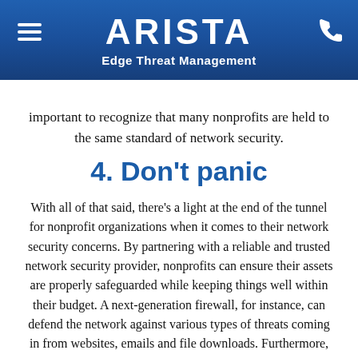ARISTA Edge Threat Management
important to recognize that many nonprofits are held to the same standard of network security.
4. Don't panic
With all of that said, there's a light at the end of the tunnel for nonprofit organizations when it comes to their network security concerns. By partnering with a reliable and trusted network security provider, nonprofits can ensure their assets are properly safeguarded while keeping things well within their budget. A next-generation firewall, for instance, can defend the network against various types of threats coming in from websites, emails and file downloads. Furthermore, that level of network security enables nonprofit members to